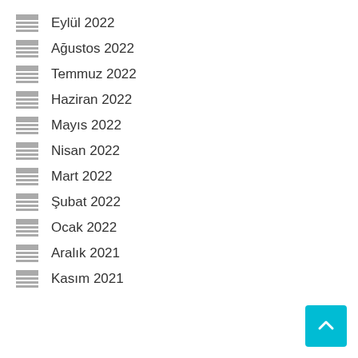Eylül 2022
Ağustos 2022
Temmuz 2022
Haziran 2022
Mayıs 2022
Nisan 2022
Mart 2022
Şubat 2022
Ocak 2022
Aralık 2021
Kasım 2021